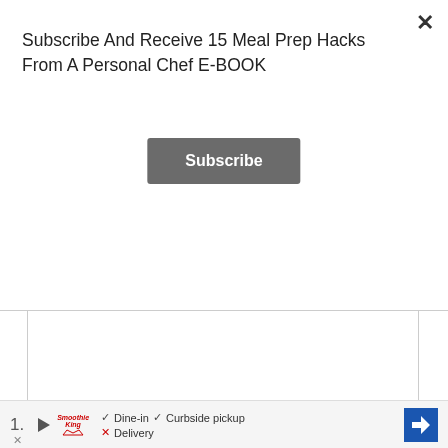Subscribe And Receive 15 Meal Prep Hacks From A Personal Chef E-BOOK
Subscribe
Instructions
1.
Dine-in  Curbside pickup  Delivery